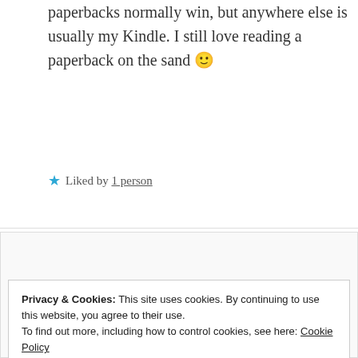paperbacks normally win, but anywhere else is usually my Kindle. I still love reading a paperback on the sand 🙂
★ Liked by 1 person
[Figure (screenshot): Partial blog comment section with thumbnail image visible]
Privacy & Cookies: This site uses cookies. By continuing to use this website, you agree to their use. To find out more, including how to control cookies, see here: Cookie Policy
Close and accept
the sand 😊 🏖️